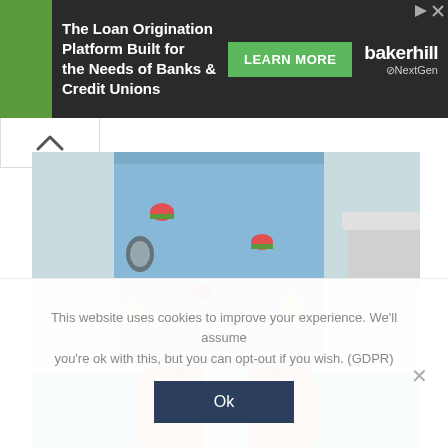[Figure (other): Advertisement banner for Baker Hill NextGen - The Loan Origination Platform Built for the Needs of Banks & Credit Unions with Learn More button]
[Figure (photo): Person wearing mid-length light blue swim trunks with fruit pattern, standing by a pool]
Mid-length swim trunks
This website uses cookies to improve your experience. We'll assume you're ok with this, but you can opt-out if you wish. (GDPR)